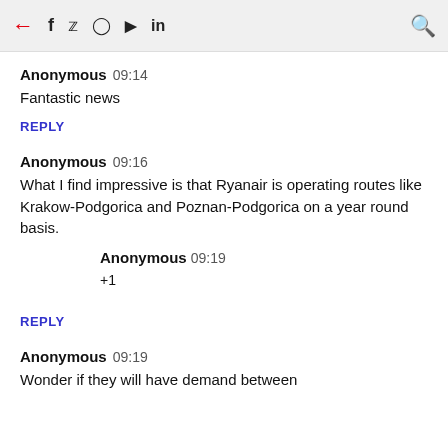← f 🐦 📷 ▶ in 🔍
Anonymous  09:14
Fantastic news
REPLY
Anonymous  09:16
What I find impressive is that Ryanair is operating routes like Krakow-Podgorica and Poznan-Podgorica on a year round basis.
REPLY
Anonymous  09:19
+1
Anonymous  09:19
Wonder if they will have demand between